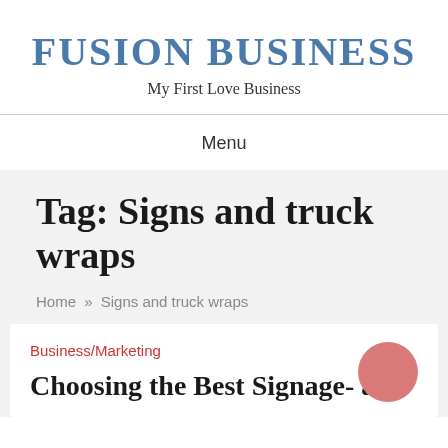FUSION BUSINESS
My First Love Business
Menu
Tag: Signs and truck wraps
Home » Signs and truck wraps
Business/Marketing
Choosing the Best Signage- a